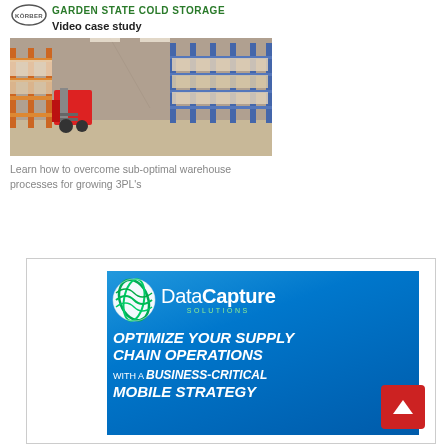[Figure (logo): Körber company logo - circular logo with KÖRBER text]
GARDEN STATE COLD STORAGE
Video case study
[Figure (photo): Warehouse interior showing forklift operating in cold storage facility with high shelving racks]
Learn how to overcome sub-optimal warehouse processes for growing 3PL's
[Figure (infographic): DataCapture Solutions advertisement with blue gradient background, globe logo, and text: OPTIMIZE YOUR SUPPLY CHAIN OPERATIONS WITH A BUSINESS-CRITICAL MOBILE STRATEGY]